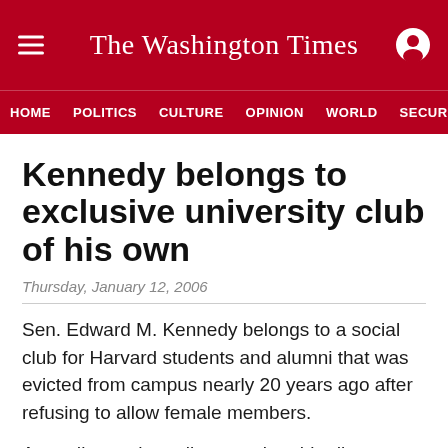The Washington Times
HOME  POLITICS  CULTURE  OPINION  WORLD  SECURITY
Kennedy belongs to exclusive university club of his own
Thursday, January 12, 2006
Sen. Edward M. Kennedy belongs to a social club for Harvard students and alumni that was evicted from campus nearly 20 years ago after refusing to allow female members.
According to the online membership directory